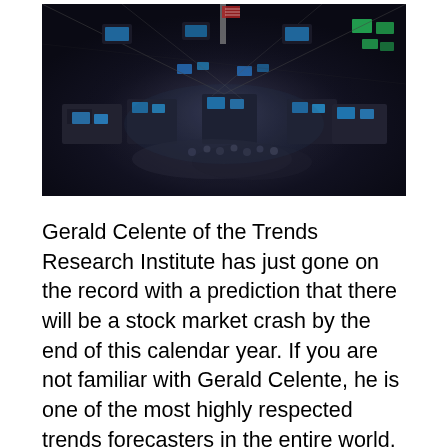[Figure (photo): Aerial view of a busy stock exchange trading floor with traders, monitors, and equipment filling the space. American flags visible. Blue and green screen glows from multiple computer monitors throughout the floor.]
Gerald Celente of the Trends Research Institute has just gone on the record with a prediction that there will be a stock market crash by the end of this calendar year.  If you are not familiar with Gerald Celente, he is one of the most highly respected trends forecasters in the entire world.  He has been featured on CNN, The Oprah Winfrey Show, The Today Show, Good Morning America, CBS Morning News, NBC Nightly News and Courante Report, M...